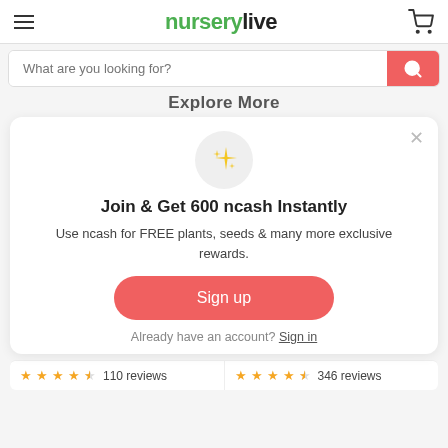nurserylive
Explore More
[Figure (screenshot): Modal dialog with sparkle emoji icon, join & get 600 ncash promotional offer, sign up button, and sign in link]
Join & Get 600 ncash Instantly
Use ncash for FREE plants, seeds & many more exclusive rewards.
Sign up
Already have an account? Sign in
110 reviews
346 reviews